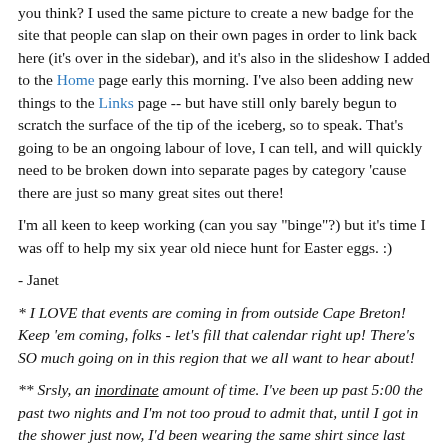you think? I used the same picture to create a new badge for the site that people can slap on their own pages in order to link back here (it's over in the sidebar), and it's also in the slideshow I added to the Home page early this morning. I've also been adding new things to the Links page -- but have still only barely begun to scratch the surface of the tip of the iceberg, so to speak. That's going to be an ongoing labour of love, I can tell, and will quickly need to be broken down into separate pages by category 'cause there are just so many great sites out there!
I'm all keen to keep working (can you say "binge"?) but it's time I was off to help my six year old niece hunt for Easter eggs. :)
- Janet
* I LOVE that events are coming in from outside Cape Breton! Keep 'em coming, folks - let's fill that calendar right up! There's SO much going on in this region that we all want to hear about!
** Srsly, an inordinate amount of time. I've been up past 5:00 the past two nights and I'm not too proud to admit that, until I got in the shower just now, I'd been wearing the same shirt since last Thursday.